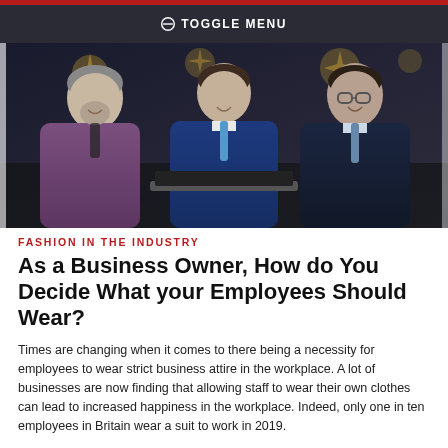TOGGLE MENU
[Figure (photo): Three businessmen in suits smiling and conversing, with a laptop visible, in a modern setting with decorative lighting in the background.]
FASHION IN THE INDUSTRY
As a Business Owner, How do You Decide What your Employees Should Wear?
Times are changing when it comes to there being a necessity for employees to wear strict business attire in the workplace. A lot of businesses are now finding that allowing staff to wear their own clothes can lead to increased happiness in the workplace. Indeed, only one in ten employees in Britain wear a suit to work in 2019.